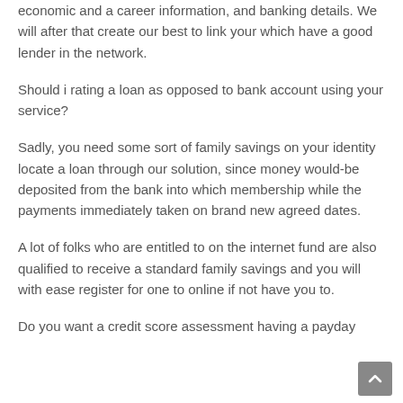economic and a career information, and banking details. We will after that create our best to link your which have a good lender in the network.
Should i rating a loan as opposed to bank account using your service?
Sadly, you need some sort of family savings on your identity locate a loan through our solution, since money would-be deposited from the bank into which membership while the payments immediately taken on brand new agreed dates.
A lot of folks who are entitled to on the internet fund are also qualified to receive a standard family savings and you will with ease register for one to online if not have you to.
Do you want a credit score assessment having a payday